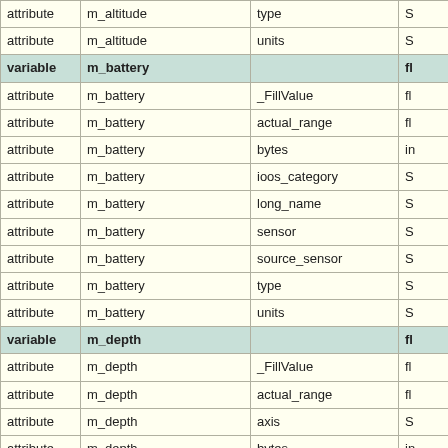|  |  |  |  |
| --- | --- | --- | --- |
| attribute | m_altitude | type | S |
| attribute | m_altitude | units | S |
| variable | m_battery |  | fl |
| attribute | m_battery | _FillValue | fl |
| attribute | m_battery | actual_range | fl |
| attribute | m_battery | bytes | in |
| attribute | m_battery | ioos_category | S |
| attribute | m_battery | long_name | S |
| attribute | m_battery | sensor | S |
| attribute | m_battery | source_sensor | S |
| attribute | m_battery | type | S |
| attribute | m_battery | units | S |
| variable | m_depth |  | fl |
| attribute | m_depth | _FillValue | fl |
| attribute | m_depth | actual_range | fl |
| attribute | m_depth | axis | S |
| attribute | m_depth | bytes | in |
| attribute | m_depth | colorBarMaximum | d |
| attribute | m_depth | colorBarMinimum | d |
| attribute | m_depth | colorBarPalette | S |